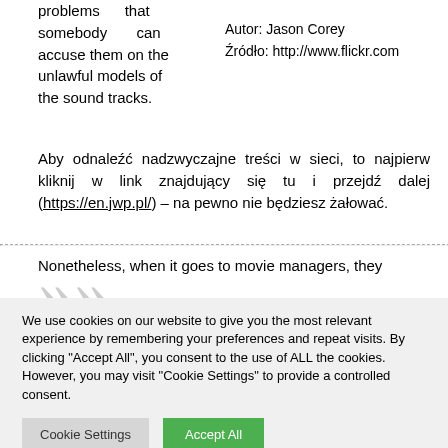problems that somebody can accuse them on the unlawful models of the sound tracks.
Autor: Jason Corey
Źródło: http://www.flickr.com
Aby odnaleźć nadzwyczajne treści w sieci, to najpierw kliknij w link znajdujący się tu i przejdź dalej (https://en.jwp.pl/) – na pewno nie będziesz żałować.
Nonetheless, when it goes to movie managers, they
We use cookies on our website to give you the most relevant experience by remembering your preferences and repeat visits. By clicking "Accept All", you consent to the use of ALL the cookies. However, you may visit "Cookie Settings" to provide a controlled consent.